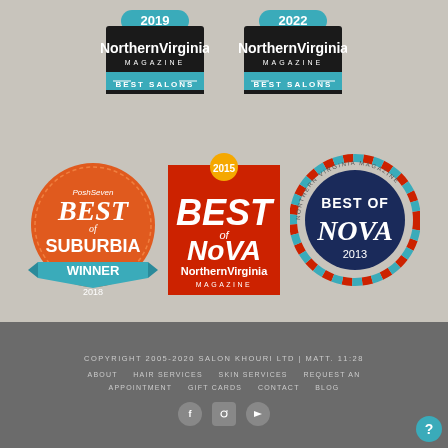[Figure (logo): Northern Virginia Magazine Best Salons 2019 badge]
[Figure (logo): Northern Virginia Magazine Best Salons 2022 badge]
[Figure (logo): Posh Seven Best of Suburbia Winner 2018 badge]
[Figure (logo): Best of NoVA Northern Virginia Magazine 2015 badge]
[Figure (logo): Northern Virginia Magazine Best of Nova 2013 badge]
COPYRIGHT 2005-2020 SALON KHOURI LTD | MATT. 11:28
ABOUT  HAIR SERVICES  SKIN SERVICES  REQUEST AN APPOINTMENT  GIFT CARDS  CONTACT  BLOG